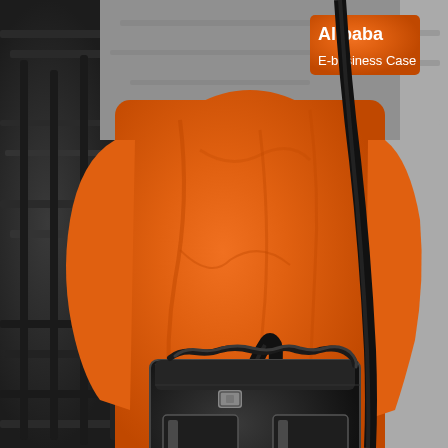[Figure (photo): A person wearing an orange hoodie/sweatshirt with 'Alibaba' and 'E-business Case' text visible on the chest area, carrying a black messenger/shoulder bag with grey accents and buckle hardware. The background shows dark metal furniture or shelving, rendered in grayscale. The person is photographed from roughly chest to knee level.]